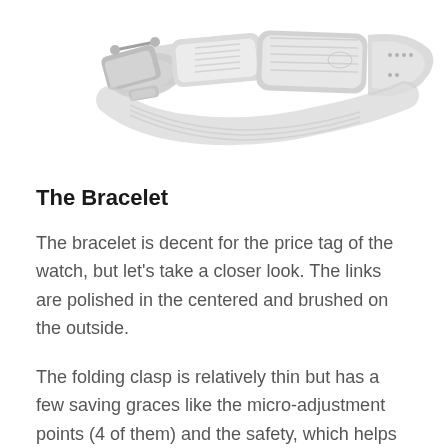[Figure (photo): A silver stainless steel watch bracelet with folding clasp, shown open/unclasped, viewed from below at an angle. The links are polished in the center and brushed on the outside.]
The Bracelet
The bracelet is decent for the price tag of the watch, but let's take a closer look. The links are polished in the centered and brushed on the outside.
The folding clasp is relatively thin but has a few saving graces like the micro-adjustment points (4 of them) and the safety, which helps